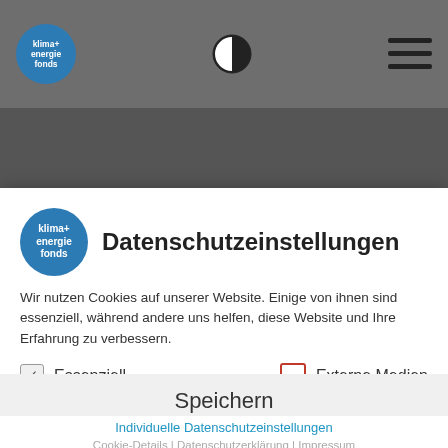[Figure (screenshot): Navigation bar with klima+energie fonds logo, contrast toggle icon, and hamburger menu icon on dark grey background]
Zwischenbericht
BlueGreenCities - Blue Green Infrastructure for
Datenschutzeinstellungen
Wir nutzen Cookies auf unserer Website. Einige von ihnen sind essenziell, während andere uns helfen, diese Website und Ihre Erfahrung zu verbessern.
Essenziell
Externe Medien
Alle akzeptieren
Speichern
Individuelle Datenschutzeinstellungen
Cookie-Details | Datenschutzerklärung | Impressum